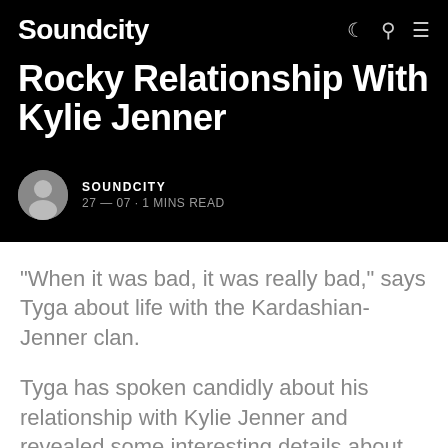Soundcity
Rocky Relationship With Kylie Jenner
SOUNDCITY
27 — 07 · 1 MINS READ
“When it was bad, it was really bad,” says Tyga about life with the Kardashian-Jenner clan.
Tyga has spoken candidly about his relationship with Kylie Jenner and revealed some interesting details about their romance